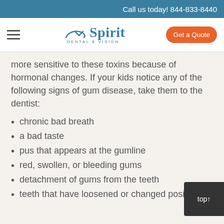Call us today! 844-833-8440
[Figure (logo): Spirit Dental & Vision logo with hamburger menu and Get a Quote button]
more sensitive to these toxins because of hormonal changes. If your kids notice any of the following signs of gum disease, take them to the dentist:
chronic bad breath
a bad taste
pus that appears at the gumline
red, swollen, or bleeding gums
detachment of gums from the teeth
teeth that have loosened or changed position